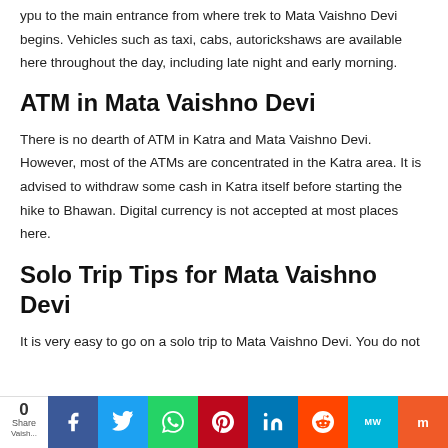ypu to the main entrance from where trek to Mata Vaishno Devi begins. Vehicles such as taxi, cabs, autorickshaws are available here throughout the day, including late night and early morning.
ATM in Mata Vaishno Devi
There is no dearth of ATM in Katra and Mata Vaishno Devi. However, most of the ATMs are concentrated in the Katra area. It is advised to withdraw some cash in Katra itself before starting the hike to Bhawan. Digital currency is not accepted at most places here.
Solo Trip Tips for Mata Vaishno Devi
It is very easy to go on a solo trip to Mata Vaishno Devi. You do not